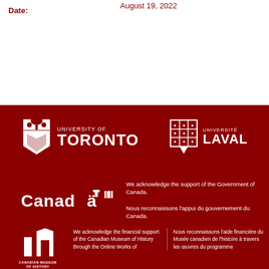Date: August 19, 2022
[Figure (logo): University of Toronto logo with shield crest and wordmark in white on dark red background]
[Figure (logo): Université Laval logo with shield crest and wordmark in white on dark red background]
[Figure (logo): Canada wordmark in white on dark red background]
We acknowledge the support of the Government of Canada.

Nous reconnaissons l'appui du gouvernement du Canada.
[Figure (logo): Canadian Museum of History logo in white on dark red background]
We acknowledge the financial support of the Canadian Museum of History through the Online Works of
Nous reconnaissons l'aide financière du Musée canadien de l'histoire à travers les œuvres du programme